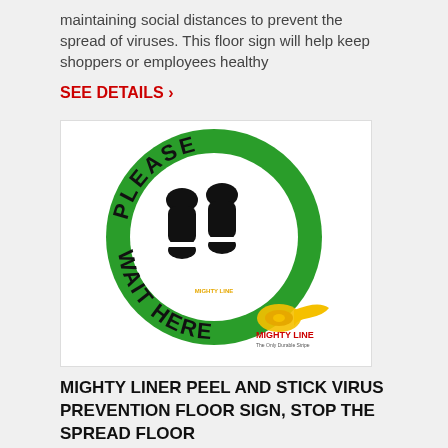maintaining social distances to prevent the spread of viruses. This floor sign will help keep shoppers or employees healthy
SEE DETAILS >
[Figure (photo): A round green floor sign with text 'PLEASE WAIT HERE' curved around the border in dark green, with two black shoe sole prints in the center on a white inner circle. Bottom right shows Mighty Line logo with a yellow tape roll graphic and text 'MIGHTY LINE The Only Durable Stripe'.]
MIGHTY LINER PEEL AND STICK VIRUS PREVENTION FLOOR SIGN, STOP THE SPREAD FLOOR